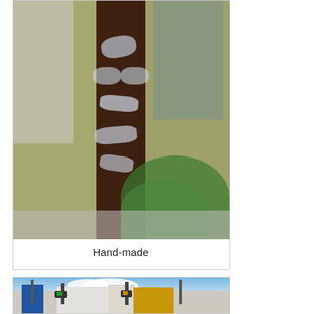[Figure (photo): Close-up photograph of a dark brown metal pole with white handprints painted on it, surrounded by green foliage, a concrete building facade on the left, and green hosta plants on the right.]
Hand-made
[Figure (photo): Street scene photograph showing a commercial street with traffic lights, utility poles, and a row of buildings including white and yellow/ochre colored storefronts under a partly cloudy blue sky.]